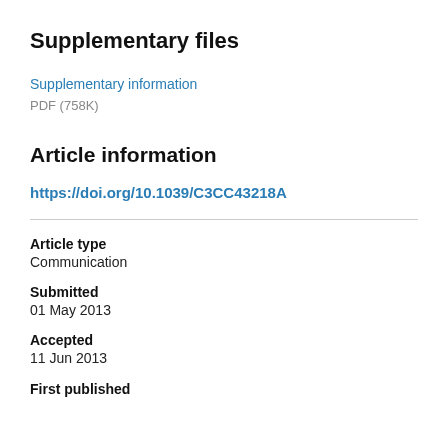Supplementary files
Supplementary information
PDF (758K)
Article information
https://doi.org/10.1039/C3CC43218A
Article type
Communication
Submitted
01 May 2013
Accepted
11 Jun 2013
First published